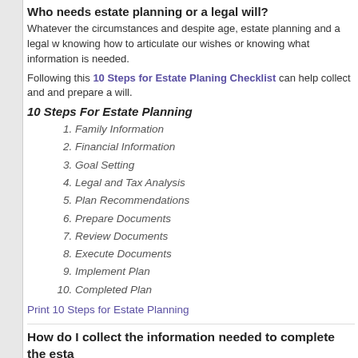Who needs estate planning or a legal will?
Whatever the circumstances and despite age, estate planning and a legal will knowing how to articulate our wishes or knowing what information is needed.
Following this 10 Steps for Estate Planing Checklist can help collect and and prepare a will.
10 Steps For Estate Planning
1. Family Information
2. Financial Information
3. Goal Setting
4. Legal and Tax Analysis
5. Plan Recommendations
6. Prepare Documents
7. Review Documents
8. Execute Documents
9. Implement Plan
10. Completed Plan
Print 10 Steps for Estate Planning
How do I collect the information needed to complete the esta
Whether you have a grand or humble estate, you carry possessions that ha family. There are several different areas from which you should gather inform leave behind. It can be a little overwhelming at first glance. Not to worry, we checklists that will help you organize your information.
What family and personal information do I need to collect?
The Estate Planning Legal Identification Fact Sheet is a checklist that h